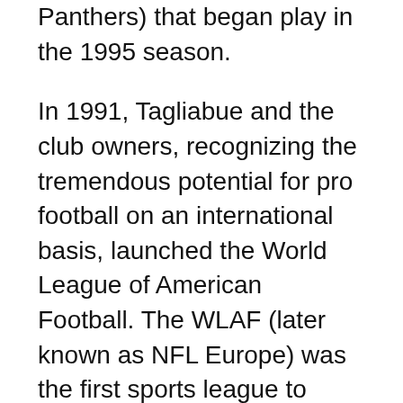Panthers) that began play in the 1995 season.
In 1991, Tagliabue and the club owners, recognizing the tremendous potential for pro football on an international basis, launched the World League of American Football. The WLAF (later known as NFL Europe) was the first sports league to operate on a weekly basis on two continents.
Labor peace is another hallmark of Tagliabue's stewardship. In 1993, the NFL and NFL Players Association officially signed a seven-year Collective Bargaining Agreement, which guaranteed more than $1 billion in pension, health, and post